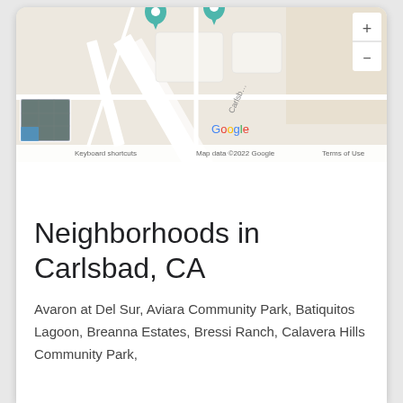[Figure (map): Google Maps screenshot showing Carlsbad, CA area with two location pins, a street label reading 'Carlsb...', a satellite imagery thumbnail in the lower-left corner, zoom in/out controls on the right, the Google logo, and footer text: 'Keyboard shortcuts  Map data ©2022 Google  Terms of Use']
Neighborhoods in Carlsbad, CA
Avaron at Del Sur, Aviara Community Park, Batiquitos Lagoon, Breanna Estates, Bressi Ranch, Calavera Hills Community Park,